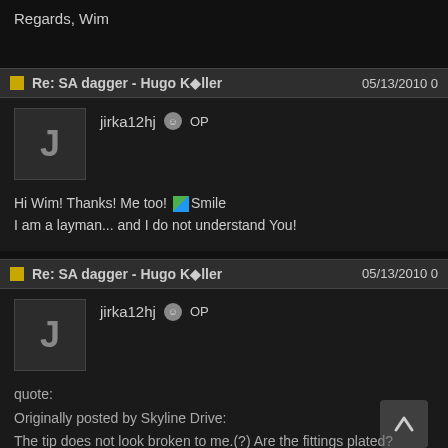Regards, Wim
Re: SA dagger - Hugo Köller  05/13/2010
jirka12hj OP
Hi Wim! Thanks! Me too! Smile
I am a layman... and I do not understand You!
Re: SA dagger - Hugo Köller  05/13/2010
jirka12hj OP
quote:
Originally posted by Skyline Drive:
The tip does not look broken to me.(?) Are the fittings plated?